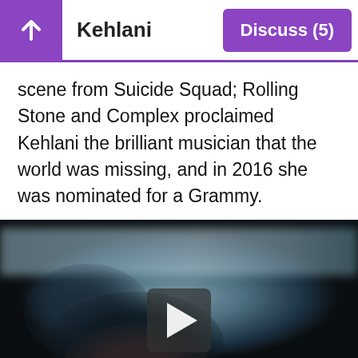Kehlani  Discuss (5)
scene from Suicide Squad; Rolling Stone and Complex proclaimed Kehlani the brilliant musician that the world was missing, and in 2016 she was nominated for a Grammy.
[Figure (screenshot): A paused video player showing a dark, blurry scene with a play button overlay. The video title shown at the bottom reads 'Kehlani - Gangsta'.]
Kehlani - Gangsta